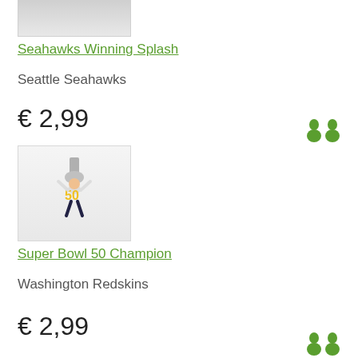[Figure (photo): Partial product image at top, cropped, gray background]
Seahawks Winning Splash
Seattle Seahawks
€ 2,99
[Figure (photo): Xbox avatar figure wearing number 50 jersey, holding trophy overhead, Super Bowl 50 Champion avatar prop]
Super Bowl 50 Champion
Washington Redskins
€ 2,99